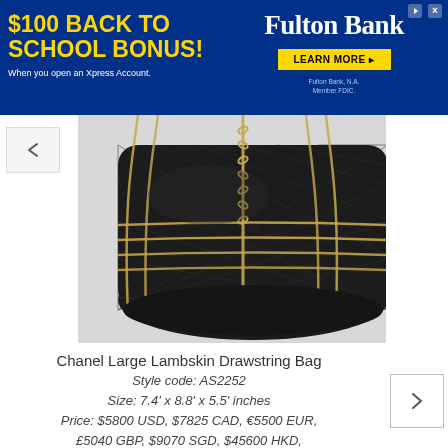[Figure (advertisement): Fulton Bank advertisement: '$100 BACK TO SCHOOL BONUS! When you open an Xpress Account.' with 'LEARN MORE' button and Fulton Bank logo on blue background]
[Figure (photo): Chanel Large Lambskin Drawstring Bag in black with gold chain details, quilted leather texture, photographed from front]
Chanel Large Lambskin Drawstring Bag
Style code: AS2252
Size: 7.4' x 8.8' x 5.5' inches
Price: $5800 USD, $7825 CAD, €5500 EUR, £5040 GBP, $9070 SGD, $45600 HKD, $9380 AUD, ¥695200 JPY, ฿199000 BAHT,